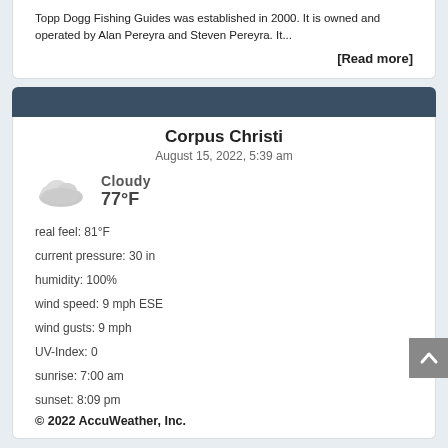Topp Dogg Fishing Guides was established in 2000. It is owned and operated by Alan Pereyra and Steven Pereyra. It...
[Read more]
Corpus Christi
August 15, 2022, 5:39 am
[Figure (illustration): Cloud icon representing cloudy weather]
CLOUDY
77°F
real feel: 81°F
current pressure: 30 in
humidity: 100%
wind speed: 9 mph ESE
wind gusts: 9 mph
UV-Index: 0
sunrise: 7:00 am
sunset: 8:09 pm
© 2022 AccuWeather, Inc.